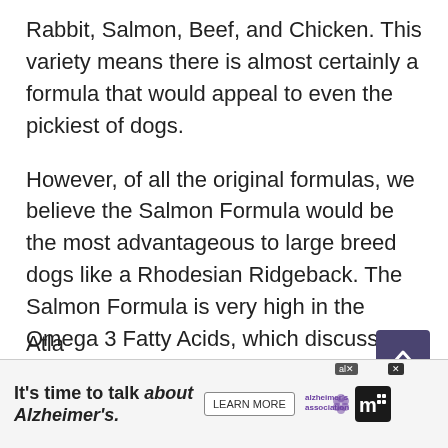Rabbit, Salmon, Beef, and Chicken. This variety means there is almost certainly a formula that would appeal to even the pickiest of dogs.
However, of all the original formulas, we believe the Salmon Formula would be the most advantageous to large breed dogs like a Rhodesian Ridgeback. The Salmon Formula is very high in the Omega 3 Fatty Acids, which discussed earlier in this article, are crucial to maintaining healthy skin and coat as well as preventing heart disease.
The formula also includes some other minor fish ingredients such as Menhaden Fish Meal and Herring. Menhaden Fish are small oily fish from the Atla... to their low...
[Figure (other): Scroll-to-top button: a dark purple/indigo square button with an upward-pointing chevron arrow icon]
It's time to talk about Alzheimer's. LEARN MORE [Alzheimer's Association logo] [M logo]